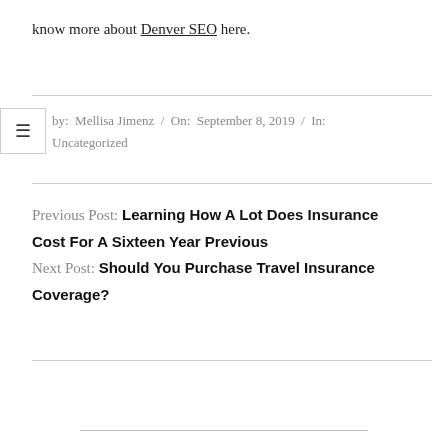know more about Denver SEO here.
By: Mellisa Jimenz / On: September 8, 2019 / In: Uncategorized
Previous Post: Learning How A Lot Does Insurance Cost For A Sixteen Year Previous
Next Post: Should You Purchase Travel Insurance Coverage?